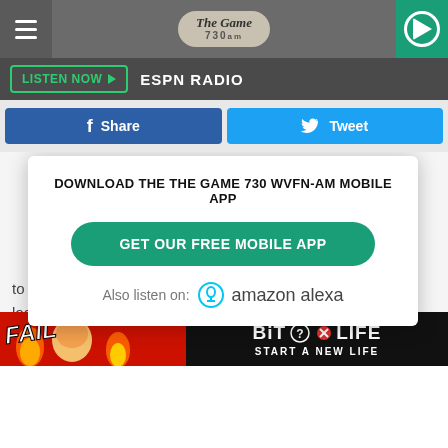The Game 730am
[Figure (screenshot): Listen Now button with ESPN Radio text on dark grey bar]
[Figure (screenshot): Facebook Share button and Twitter Tweet button row]
[Figure (infographic): Modal overlay: DOWNLOAD THE THE GAME 730 WVFN-AM MOBILE APP, GET OUR FREE MOBILE APP button, Also listen on: amazon alexa]
to April, and you can make a stop at these Michigan locations below, and enjoy the natural show.
[Figure (screenshot): BitLife advertisement banner: FAIL, cartoon character, fire, BIT LIFE logo, START A NEW LIFE]